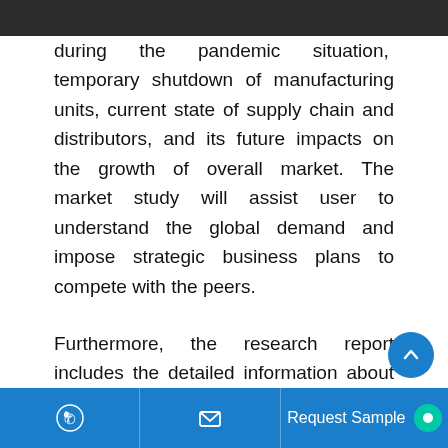during the pandemic situation, temporary shutdown of manufacturing units, current state of supply chain and distributors, and its future impacts on the growth of overall market. The market study will assist user to understand the global demand and impose strategic business plans to compete with the peers.
Furthermore, the research report includes the detailed information about major players and provides the data regarding the current market scenario as well as upcoming mar...
Request Sample